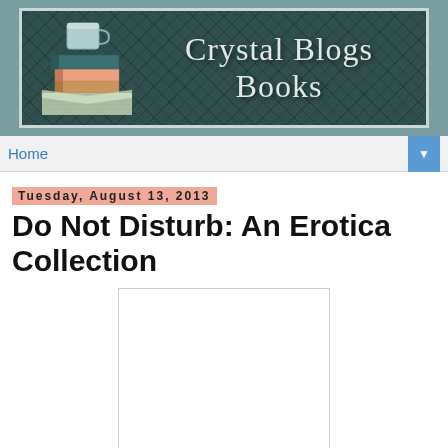[Figure (illustration): Crystal Blogs Books website header banner with dark teal background, diamond pattern, stacked books with a mug illustration on the left, and cursive script text reading 'Crystal Blogs Books']
Home
Tuesday, August 13, 2013
Do Not Disturb: An Erotica Collection
[Figure (illustration): Book cover image placeholder (white/blank area)]